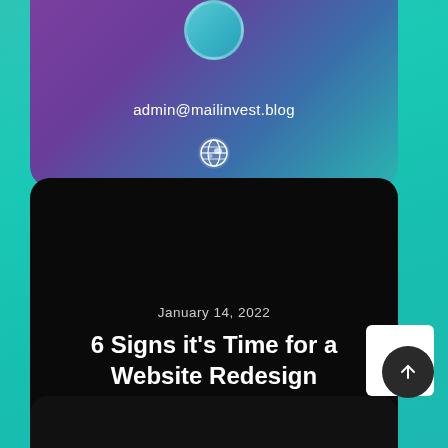admin@mailinvest.blog
[Figure (illustration): Globe/earth icon in white, inside a profile/top card area]
[Figure (illustration): Dark article card with date, title, pink left-arrow back button, and scroll-up button]
January 14, 2022
6 Signs it’s Time for a Website Redesign